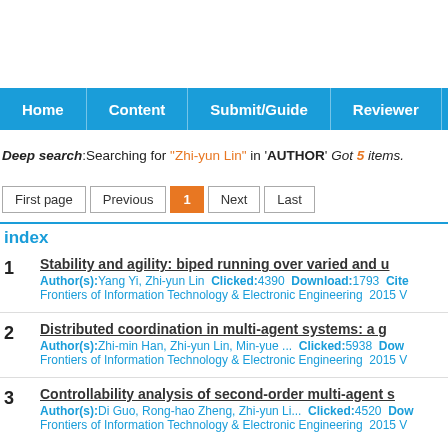Navigation bar: Home | Content | Submit/Guide | Reviewer
Deep search:Searching for "Zhi-yun Lin" in 'AUTHOR' Got 5 items.
Pagination: First page | Previous | 1 | Next | Last
index
1. Stability and agility: biped running over varied and u... Author(s):Yang Yi, Zhi-yun Lin Clicked:4390 Download:1793 Cite... Frontiers of Information Technology & Electronic Engineering 2015 V...
2. Distributed coordination in multi-agent systems: a g... Author(s):Zhi-min Han, Zhi-yun Lin, Min-yue ... Clicked:5938 Down... Frontiers of Information Technology & Electronic Engineering 2015 V...
3. Controllability analysis of second-order multi-agent s... Author(s):Di Guo, Rong-hao Zheng, Zhi-yun Li... Clicked:4520 Dow... Frontiers of Information Technology & Electronic Engineering 2015 V...